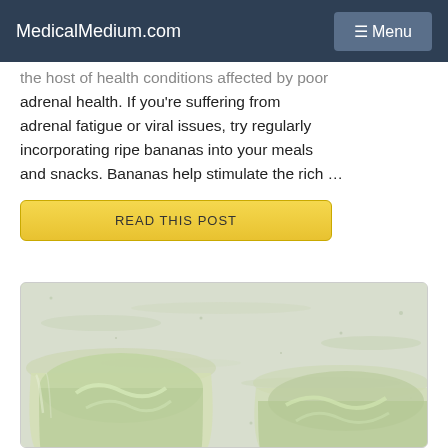MedicalMedium.com  ☰ Menu
the host of health conditions affected by poor adrenal health. If you're suffering from adrenal fatigue or viral issues, try regularly incorporating ripe bananas into your meals and snacks. Bananas help stimulate the rich …
READ THIS POST
[Figure (photo): Photo of a glass bowl containing light green creamy smoothie or avocado-based mixture, on a marble/stone surface. Two portions visible side by side.]